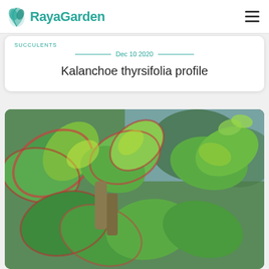RayaGarden
SUCCULENTS
Dec 10 2020
Kalanchoe thyrsifolia profile
[Figure (photo): Close-up photo of Kalanchoe thyrsifolia succulent plant with thick green leaves edged in red/pink, showing multiple rosette clusters against a blurred background]